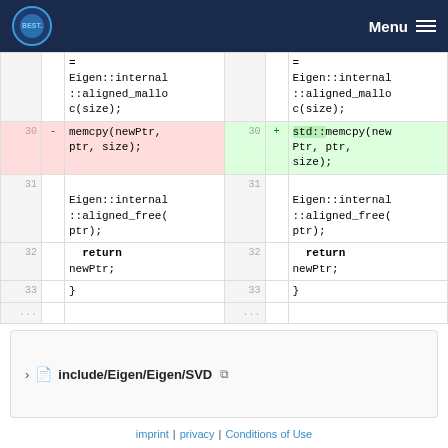BEST | Menu
Diff view showing code changes: line 30 - memcpy(newPtr, ptr, size); changed to + std::memcpy(newPtr, ptr, size); Lines 31-33 unchanged showing Eigen::internal::aligned_free(ptr); return newPtr; }
include/Eigen/Eigen/SVD
imprint | privacy | Conditions of Use